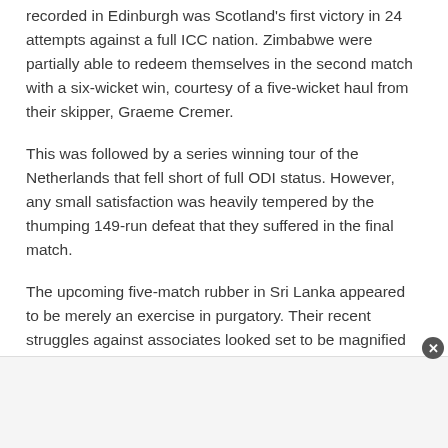recorded in Edinburgh was Scotland's first victory in 24 attempts against a full ICC nation. Zimbabwe were partially able to redeem themselves in the second match with a six-wicket win, courtesy of a five-wicket haul from their skipper, Graeme Cremer.

This was followed by a series winning tour of the Netherlands that fell short of full ODI status. However, any small satisfaction was heavily tempered by the thumping 149-run defeat that they suffered in the final match.

The upcoming five-match rubber in Sri Lanka appeared to be merely an exercise in purgatory. Their recent struggles against associates looked set to be magnified in unfamiliar conditions and against